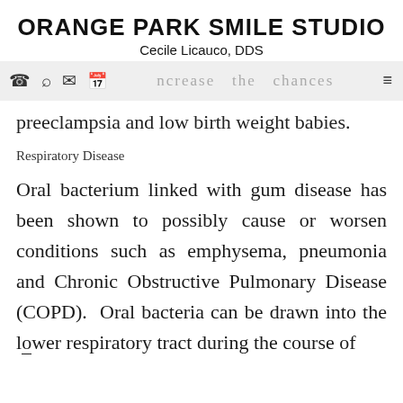ORANGE PARK SMILE STUDIO
Cecile Licauco, DDS
amplify the inflammatory response of the body and increase the chances preeclampsia and low birth weight babies.
Respiratory Disease
Oral bacterium linked with gum disease has been shown to possibly cause or worsen conditions such as emphysema, pneumonia and Chronic Obstructive Pulmonary Disease (COPD). Oral bacteria can be drawn into the lower respiratory tract during the course of